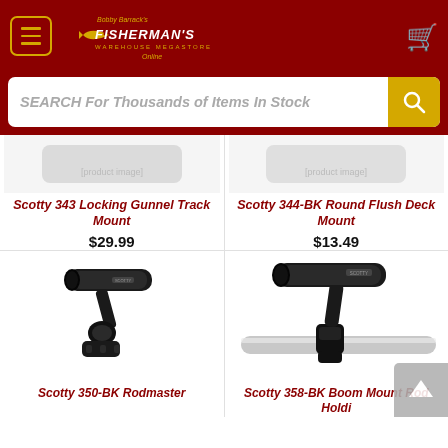[Figure (screenshot): Fisherman's Warehouse Megastore online shop header with dark red background, hamburger menu icon with gold border, Bobby Barrack's Fisherman's Warehouse logo, and gold shopping cart icon]
SEARCH For Thousands of Items In Stock
[Figure (photo): Partial product image of Scotty 343 Locking Gunnel Track Mount in top-left product cell]
[Figure (photo): Partial product image area of Scotty 344-BK Round Flush Deck Mount in top-right product cell]
Scotty 343 Locking Gunnel Track Mount
$29.99
Scotty 344-BK Round Flush Deck Mount
$13.49
[Figure (photo): Scotty 350-BK Rodmaster rod holder product photo showing black rod holder with adjustable mount on white background]
[Figure (photo): Scotty 358-BK Boom Mount Rod Holder product photo showing black rod holder clamped to a silver rail]
Scotty 350-BK Rodmaster
Scotty 358-BK Boom Mount Rod Holdi